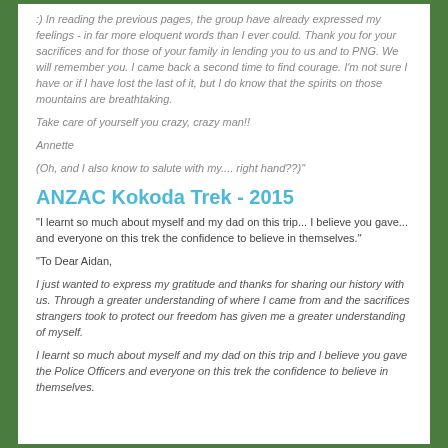:) In reading the previous pages, the group have already expressed my feelings - in far more eloquent words than I ever could. Thank you for your sacrifices and for those of your family in lending you to us and to PNG. We will remember you. I came back a second time to find courage. I'm not sure I have or if I have lost the last of it, but I do know that the spirits on those mountains are breathtaking.
Take care of yourself you crazy, crazy man!!
Annette
(Oh, and I also know to salute with my.... right hand??)"
ANZAC Kokoda Trek - 2015
"I learnt so much about myself and my dad on this trip... I believe you gave... and everyone on this trek the confidence to believe in themselves."
"To Dear Aidan,
I just wanted to express my gratitude and thanks for sharing our history with us. Through a greater understanding of where I came from and the sacrifices strangers took to protect our freedom has given me a greater understanding of myself.
I learnt so much about myself and my dad on this trip and I believe you gave the Police Officers and everyone on this trek the confidence to believe in themselves.